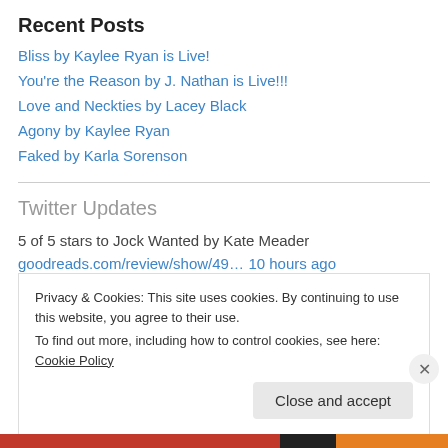Recent Posts
Bliss by Kaylee Ryan is Live!
You're the Reason by J. Nathan is Live!!!
Love and Neckties by Lacey Black
Agony by Kaylee Ryan
Faked by Karla Sorenson
Twitter Updates
5 of 5 stars to Jock Wanted by Kate Meader
goodreads.com/review/show/49… 10 hours ago
Privacy & Cookies: This site uses cookies. By continuing to use this website, you agree to their use.
To find out more, including how to control cookies, see here: Cookie Policy
Close and accept